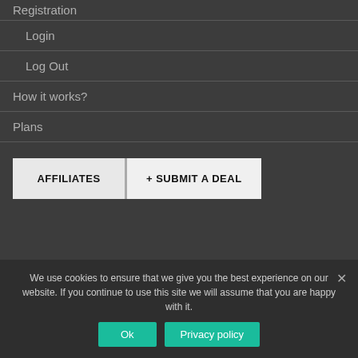Registration
Login
Log Out
How it works?
Plans
AFFILIATES
+ SUBMIT A DEAL
Copyright © 2022 World Traveler Club
We use cookies to ensure that we give you the best experience on our website. If you continue to use this site we will assume that you are happy with it.
Ok
Privacy policy